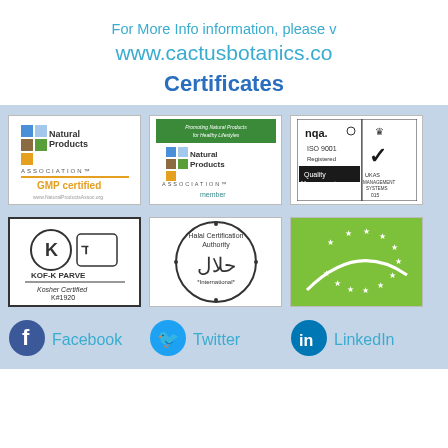For More Info information, please v
www.cactusbotanics.co
Certificates
[Figure (logo): Natural Products Association GMP Certified logo]
[Figure (logo): Natural Products Association Member logo with green header promoting natural products for healthy lifestyles]
[Figure (logo): NQA ISO 9001 Registered Quality Management UKAS Management Systems 015 logo]
[Figure (logo): KOF-K PARVE Kosher Certified K#1920 logo]
[Figure (logo): Halal Certification Authority International circular seal]
[Figure (logo): EU Organic green logo with white stars and curve]
[Figure (logo): Facebook social media icon]
Facebook
[Figure (logo): Twitter social media icon]
Twitter
[Figure (logo): LinkedIn social media icon]
LinkedIn